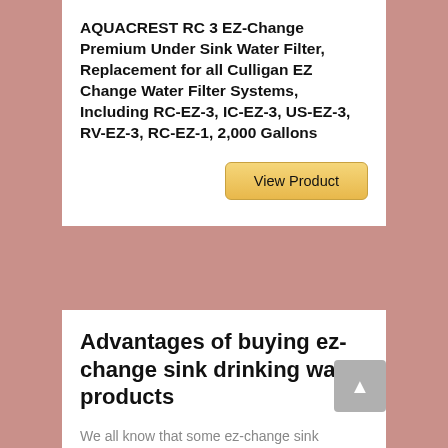AQUACREST RC 3 EZ-Change Premium Under Sink Water Filter, Replacement for all Culligan EZ Change Water Filter Systems, Including RC-EZ-3, IC-EZ-3, US-EZ-3, RV-EZ-3, RC-EZ-1, 2,000 Gallons
[Figure (other): Golden 'View Product' button]
Advantages of buying ez-change sink drinking water products
We all know that some ez-change sink drinking water products are made with better quality than others. When you buy a product, it is important to understand the advantages of that